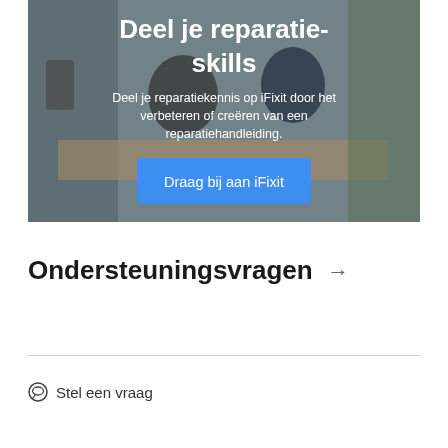[Figure (photo): Two people working together at a desk, likely repairing electronics. Background shows a kitchen/workshop setting with a plant and moka pot visible. Overlaid with white text and a blue button.]
Deel je reparatie-skills
Deel je reparatiekennis op iFixit door het verbeteren of creëren van een reparatiehandleiding.
Draag bij aan iFixit
Ondersteuningsvragen →
Stel een vraag